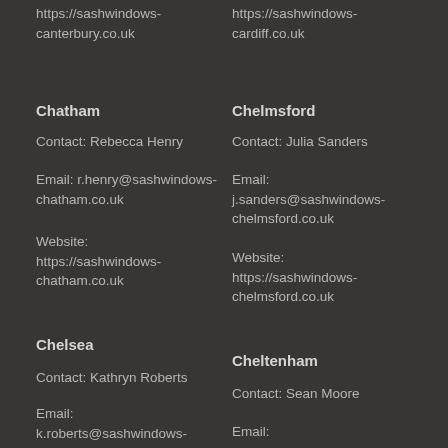https://sashwindows-canterbury.co.uk
https://sashwindows-cardiff.co.uk
Chatham
Contact: Rebecca Henry
Email: r.henry@sashwindows-chatham.co.uk
Website: https://sashwindows-chatham.co.uk
Chelmsford
Contact: Julia Sanders
Email: j.sanders@sashwindows-chelmsford.co.uk
Website: https://sashwindows-chelmsford.co.uk
Chelsea
Contact: Kathryn Roberts
Email: k.roberts@sashwindows-
Cheltenham
Contact: Sean Moore
Email: